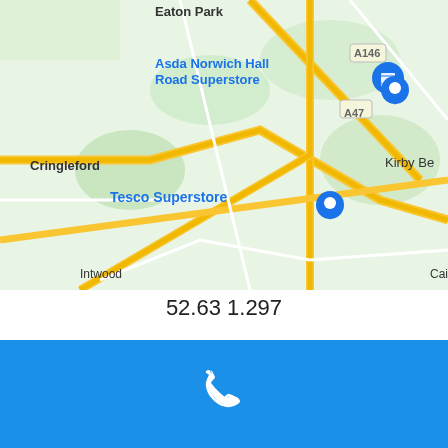[Figure (map): Google Maps screenshot showing Norwich area including Trowse Newton, Bixley, Cringleford, Eaton Park, Asda Norwich Hall Road Superstore, Tesco Superstore, Highway Garden, Intwood, road A146, A47, Caister St, Kirby Be]
52.63 1.297
Locksmith in Trowse Newton
Locksmith in Thorpe Saint Andrew
Locksmith in Earlham
Locksmith in Hellesdon
Locksmith in Cringleford
[Figure (other): Blue bar with white phone icon at bottom of page]